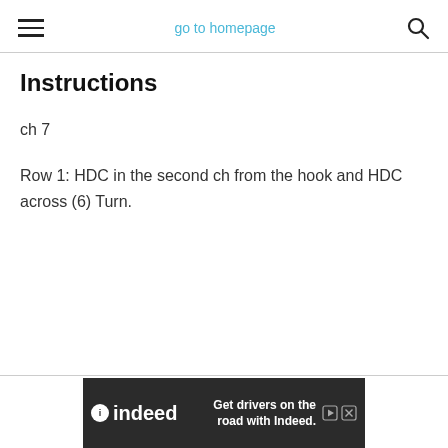go to homepage
Instructions
ch 7
Row 1: HDC in the second ch from the hook and HDC across (6) Turn.
[Figure (other): Indeed advertisement banner: 'Get drivers on the road with Indeed.']